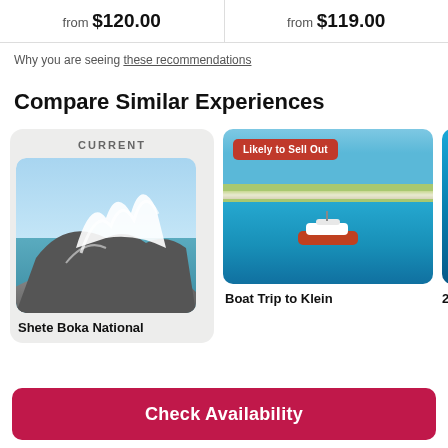from $120.00
from $119.00
Why you are seeing these recommendations
Compare Similar Experiences
[Figure (photo): Current card labeled CURRENT showing a wave crashing on rocks at Shete Boka National park]
Shete Boka National
[Figure (photo): Boat Trip to Klein - aerial view of a boat on turquoise water near a sandy island with Likely to Sell Out badge]
Boat Trip to Klein
[Figure (photo): Partial view of a third experience card showing blue water - 2 Tank...]
2 Ta...
Check Availability